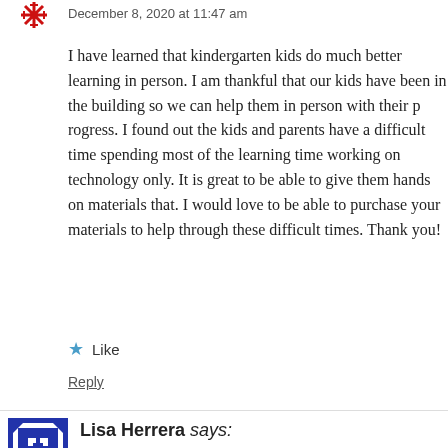December 8, 2020 at 11:47 am
I have learned that kindergarten kids do much better learning in person. I am thankful that our kids have been in the building so we can help them in person with their progress. I found out the kids and parents have a difficult time spending most of the learning time working on technology only. It is great to be able to give them hands on materials that. I would love to be able to purchase your materials to help through these difficult times. Thank you!
Like
Reply
Lisa Herrera says:
December 8, 2020 at 11:46 am
I learned to use videos effectively to enhance my te